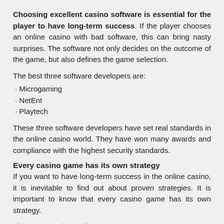Choosing excellent casino software is essential for the player to have long-term success. If the player chooses an online casino with bad software, this can bring nasty surprises. The software not only decides on the outcome of the game, but also defines the game selection.
The best three software developers are:
Microgaming
NetEnt
Playtech
These three software developers have set real standards in the online casino world. They have won many awards and compliance with the highest security standards.
Every casino game has its own strategy
If you want to have long-term success in the online casino, it is inevitable to find out about proven strategies. It is important to know that every casino game has its own strategy.
The most popular casino games are:
Roulette
Blackjack